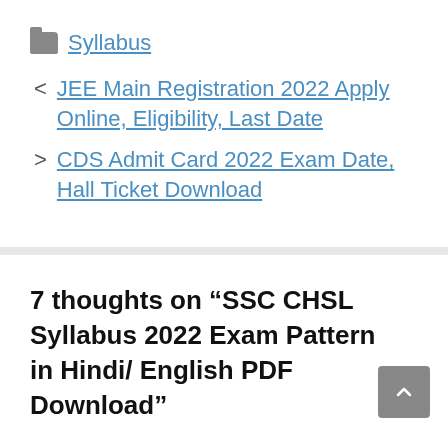Syllabus
JEE Main Registration 2022 Apply Online, Eligibility, Last Date
CDS Admit Card 2022 Exam Date, Hall Ticket Download
7 thoughts on “SSC CHSL Syllabus 2022 Exam Pattern in Hindi/ English PDF Download”